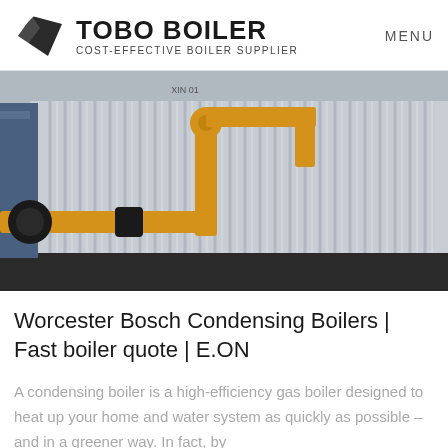TOBO BOILER | COST-EFFECTIVE BOILER SUPPLIER | MENU
[Figure (photo): Industrial boiler with yellow corrugated metal casing and yellow gas pipes/fittings, photographed outdoors in an industrial setting.]
Worcester Bosch Condensing Boilers | Fast boiler quote | E.ON
A condensing boiler is a high-efficiency gas boiler designed to heat up your home and water system as quickly as possible – and in a greener way. In fact, by